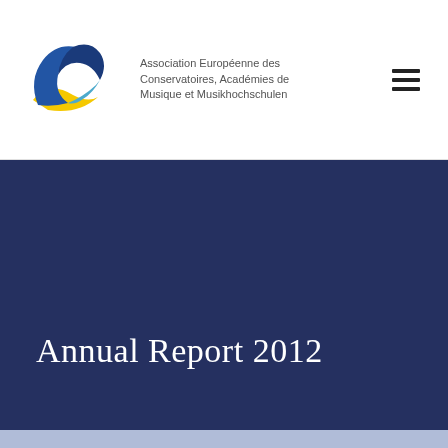Association Européenne des Conservatoires, Académies de Musique et Musikhochschulen
Annual Report 2012